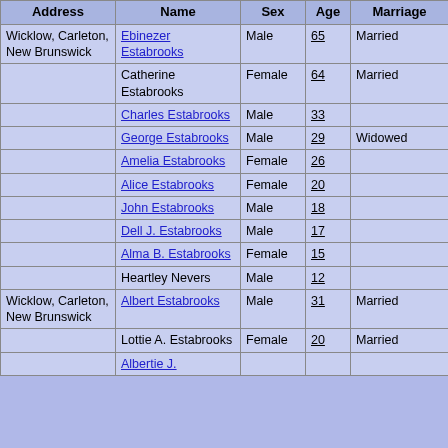| Address | Name | Sex | Age | Marriage |
| --- | --- | --- | --- | --- |
| Wicklow, Carleton, New Brunswick | Ebinezer Estabrooks | Male | 65 | Married |
|  | Catherine Estabrooks | Female | 64 | Married |
|  | Charles Estabrooks | Male | 33 |  |
|  | George Estabrooks | Male | 29 | Widowed |
|  | Amelia Estabrooks | Female | 26 |  |
|  | Alice Estabrooks | Female | 20 |  |
|  | John Estabrooks | Male | 18 |  |
|  | Dell J. Estabrooks | Male | 17 |  |
|  | Alma B. Estabrooks | Female | 15 |  |
|  | Heartley Nevers | Male | 12 |  |
| Wicklow, Carleton, New Brunswick | Albert Estabrooks | Male | 31 | Married |
|  | Lottie A. Estabrooks | Female | 20 | Married |
|  | Albertie J. ... | Female |  |  |